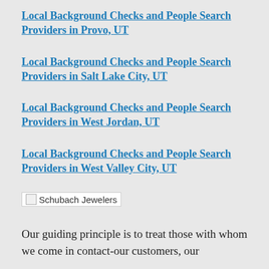Local Background Checks and People Search Providers in Provo, UT
Local Background Checks and People Search Providers in Salt Lake City, UT
Local Background Checks and People Search Providers in West Jordan, UT
Local Background Checks and People Search Providers in West Valley City, UT
[Figure (logo): Schubach Jewelers logo placeholder image with alt text 'Schubach Jewelers']
Our guiding principle is to treat those with whom we come in contact-our customers, our